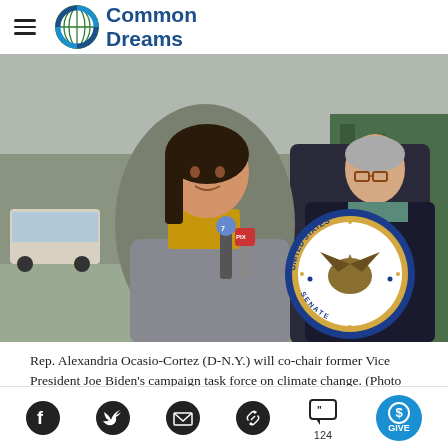Common Dreams
[Figure (photo): Rep. Alexandria Ocasio-Cortez speaking at a press conference outdoors, holding a microphone with a United States Senate seal visible. Senator Chuck Schumer stands behind her to the right.]
Rep. Alexandria Ocasio-Cortez (D-N.Y.) will co-chair former Vice President Joe Biden's campaign task force on climate change. (Photo
Social sharing icons: Facebook, Twitter, Email, Link, Comments (124), GIVE